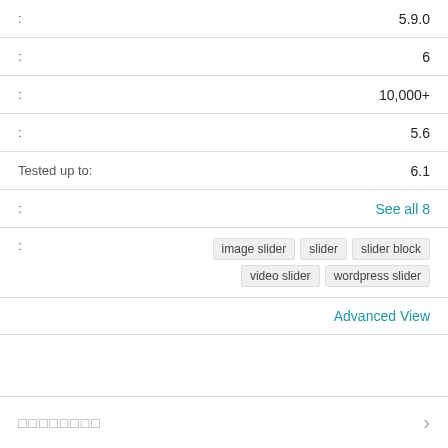| : | 5.9.0 |
| : | 6 |
| : | 10,000+ |
| : | 5.6 |
| Tested up to: | 6.1 |
| : | See all 8 |
| : | image slider  slider  slider block  video slider  wordpress slider |
|  | Advanced View |
□□□□□□□□